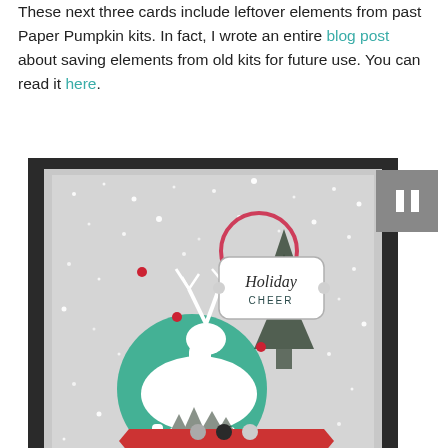These next three cards include leftover elements from past Paper Pumpkin kits. In fact, I wrote an entire blog post about saving elements from old kits for future use. You can read it here.
[Figure (photo): A handmade holiday card featuring a white reindeer silhouette against a snowy silver background, with pine trees, a teal circle, a red banner, a red ribbon, and a 'Holiday Cheer' label tag. The card is mounted on dark/black cardstock.]